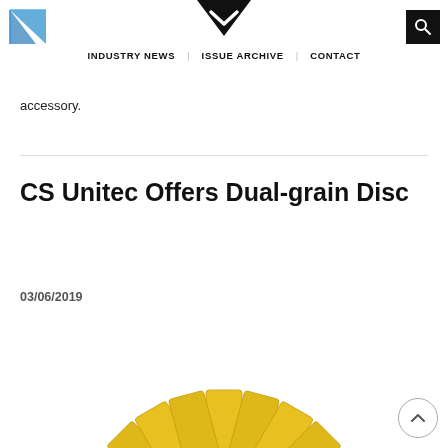INDUSTRY NEWS  ISSUE ARCHIVE  CONTACT
accessory.
CS Unitec Offers Dual-grain Disc
03/06/2019
[Figure (photo): A yellow flap disc (dual-grain abrasive disc) photographed from above showing layered abrasive flaps arranged in a fan pattern around a dark center hub.]